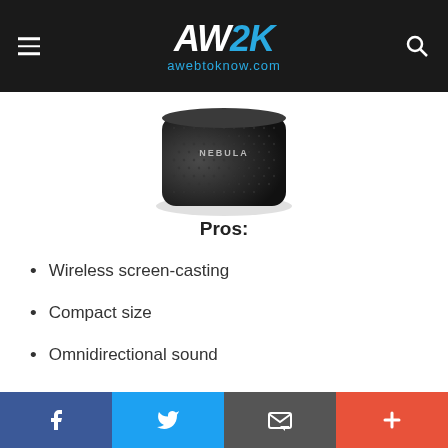AW2K awebtoknow.com
[Figure (photo): Top portion of a black cylindrical Nebula projector/speaker device with mesh grille, photographed from above on a white background.]
Pros:
Wireless screen-casting
Compact size
Omnidirectional sound
Cons:
No protector for lens
Included remote is a bit finicky
Facebook | Twitter | Email | Plus